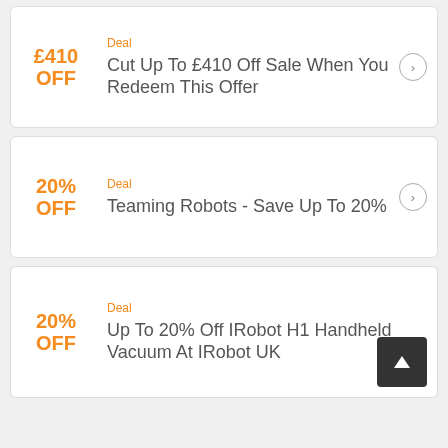£410 OFF
Deal
Cut Up To £410 Off Sale When You Redeem This Offer
20% OFF
Deal
Teaming Robots - Save Up To 20%
20% OFF
Deal
Up To 20% Off IRobot H1 Handheld Vacuum At IRobot UK